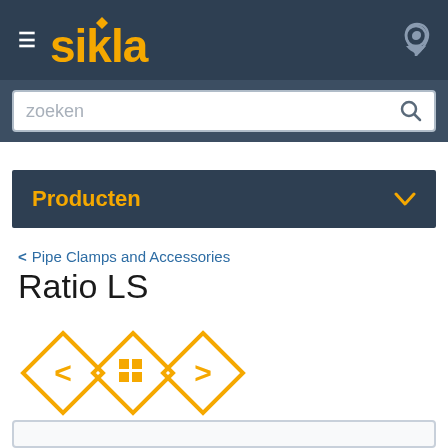sikla — navigation header with hamburger menu and location icon
zoeken
Producten
< Pipe Clamps and Accessories
Ratio LS
[Figure (illustration): Three diamond-shaped navigation icons: left arrow, grid/home, right arrow — all in yellow/orange outline style]